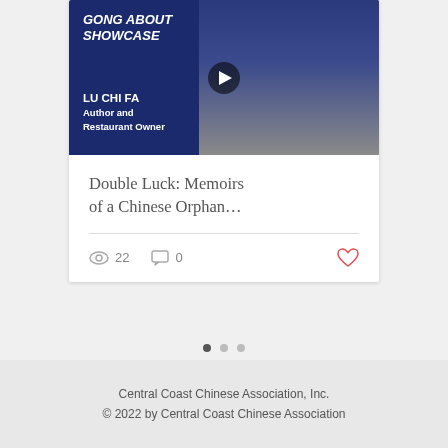[Figure (screenshot): Video thumbnail for 'GONG ABOUT SHOWCASE' featuring LU CHI FA, Author and Restaurant Owner, with a play button overlay on a blue background]
Double Luck: Memoirs of a Chinese Orphan…
22  0
[Figure (other): Pagination dots indicator with three dots, first dot active]
Central Coast Chinese Association, Inc.
© 2022 by Central Coast Chinese Association